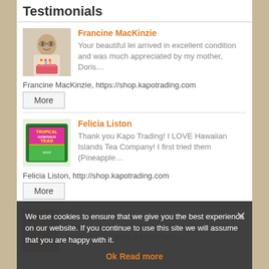Testimonials
Francine MacKinzie
Your beautiful lei arrived in excellent condition and was much appreciated by my mother, Doris…
Francine MacKinzie, https://shop.kapotrading.com
More
Felicia Liston
Thank you Kapo Trading! I LOVE Hawaiian Islands Tea Company! I first tried them (Pineapple…
Felicia Liston, http://shop.kapotrading.com
More
Mekar… Super pleased! Husband says it looks great which means a home run!…
We use cookies to ensure that we give you the best experience on our website. If you continue to use this site we will assume that you are happy with it.
Ok  Read more